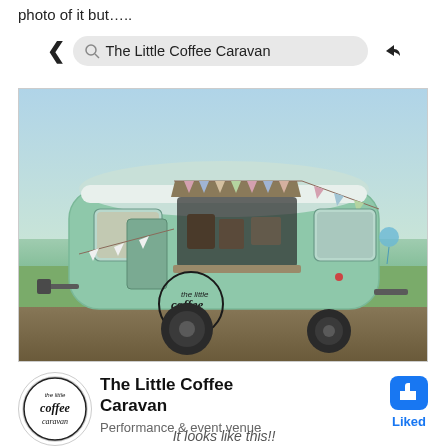photo of it but…..
[Figure (screenshot): Mobile browser search bar showing 'The Little Coffee Caravan' with back arrow and share arrow]
[Figure (photo): A mint green vintage caravan converted into a coffee bar, with bunting flags, open serving window displaying food and coffee equipment, and a circular logo on the side reading 'The Little Coffee Caravan']
[Figure (logo): Circular logo for The Little Coffee Caravan with cursive text]
The Little Coffee Caravan
Performance & event venue
[Figure (illustration): Facebook blue thumbs up 'Like' button icon]
Liked
It looks like this!!